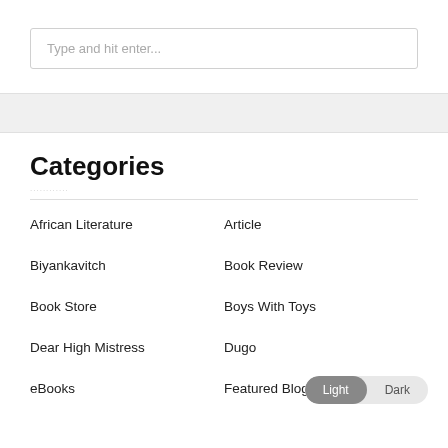Type and hit enter...
Categories
African Literature
Article
Biyankavitch
Book Review
Book Store
Boys With Toys
Dear High Mistress
Dugo
eBooks
Featured Blog...
Light  Dark